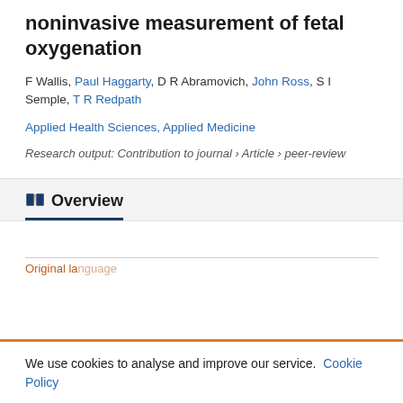noninvasive measurement of fetal oxygenation
F Wallis, Paul Haggarty, D R Abramovich, John Ross, S I Semple, T R Redpath
Applied Health Sciences, Applied Medicine
Research output: Contribution to journal › Article › peer-review
Overview
Original language
We use cookies to analyse and improve our service. Cookie Policy